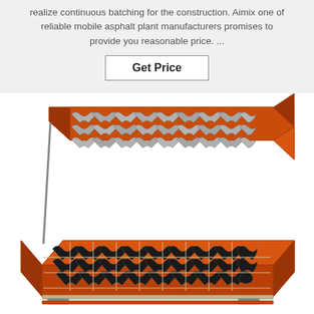realize continuous batching for the construction. Aimix one of reliable mobile asphalt plant manufacturers promises to provide you reasonable price. ...
Get Price
[Figure (photo): An open industrial paving block mold machine with orange metal frame. The top lid is propped open showing multiple interlocking paver block shapes in grey metal. The bottom tray shows the corresponding black rubber mold cavities arranged in rows.]